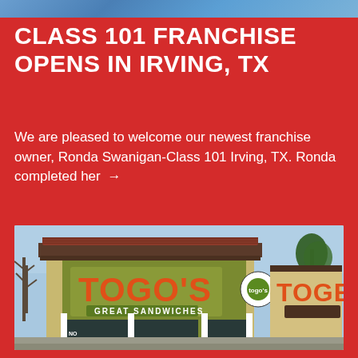[Figure (photo): Top banner photo strip showing people at what appears to be a Class 101 franchise event]
CLASS 101 FRANCHISE OPENS IN IRVING, TX
We are pleased to welcome our newest franchise owner, Ronda Swanigan-Class 101 Irving, TX. Ronda completed her →
[Figure (photo): Exterior photo of a Togo's Great Sandwiches restaurant storefront with green and tan facade and orange lettering]